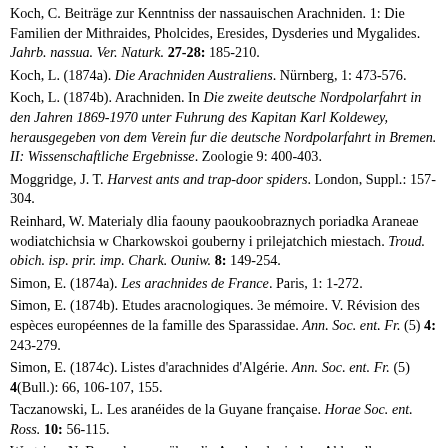Koch, C. Beiträge zur Kenntniss der nassauischen Arachniden. 1: Die Familien der Mithraides, Pholcides, Eresides, Dysderies und Mygalides. Jahrb. nassua. Ver. Naturk. 27-28: 185-210.
Koch, L. (1874a). Die Arachniden Australiens. Nürnberg, 1: 473-576.
Koch, L. (1874b). Arachniden. In Die zweite deutsche Nordpolarfahrt in den Jahren 1869-1970 unter Fuhrung des Kapitan Karl Koldewey, herausgegeben von dem Verein fur die deutsche Nordpolarfahrt in Bremen. II: Wissenschaftliche Ergebnisse. Zoologie 9: 400-403.
Moggridge, J. T. Harvest ants and trap-door spiders. London, Suppl.: 157-304.
Reinhard, W. Materialy dlia faouny paoukoobraznych poriadka Araneae wodiatchichsia w Charkowskoi gouberny i prilejatchich miestach. Troud. obich. isp. prir. imp. Chark. Ouniw. 8: 149-254.
Simon, E. (1874a). Les arachnides de France. Paris, 1: 1-272.
Simon, E. (1874b). Etudes aracnologiques. 3e mémoire. V. Révision des espèces européennes de la famille des Sparassidae. Ann. Soc. ent. Fr. (5) 4: 243-279.
Simon, E. (1874c). Listes d'arachnides d'Algérie. Ann. Soc. ent. Fr. (5) 4(Bull.): 66, 106-107, 155.
Taczanowski, L. Les aranéides de la Guyane française. Horae Soc. ent. Ross. 10: 56-115.
Westring, N. Bemerkungen über die Arachnologischen Abhandlungen von Dr T. Thorell unter dem Titel: 1°, On European Spiders, etc 1 et 2. Upsala, 1869-70. 2°. Remarks on Synonyms of